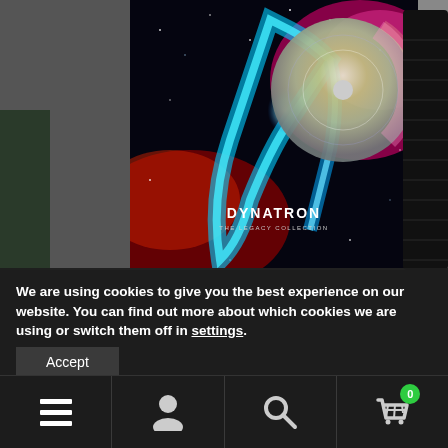[Figure (screenshot): Album product page screenshot showing Dynatron 'The Legacy Collection' album art with space nebula background in blue, pink and red colors. A CD disc is visible on the right side, partially overlapping the album cover. A vinyl record edge is visible on the far right. Dark gray background with album cover image centered.]
We are using cookies to give you the best experience on our website. You can find out more about which cookies we are using or switch them off in settings.
Accept
[Figure (infographic): Bottom navigation bar with four icons: hamburger menu (three horizontal lines), user/account icon (person silhouette), search icon (magnifying glass), and shopping cart icon with green badge showing '0'.]